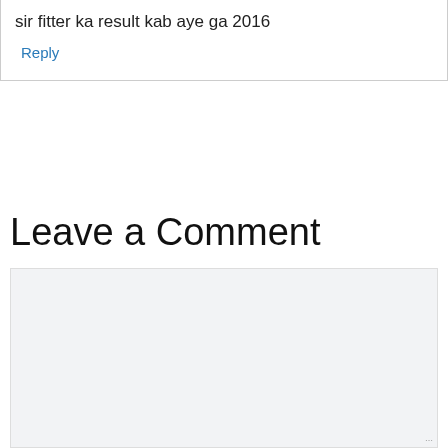sir fitter ka result kab aye ga 2016
Reply
Leave a Comment
[Figure (other): Empty comment textarea input box with light gray background and resize handle]